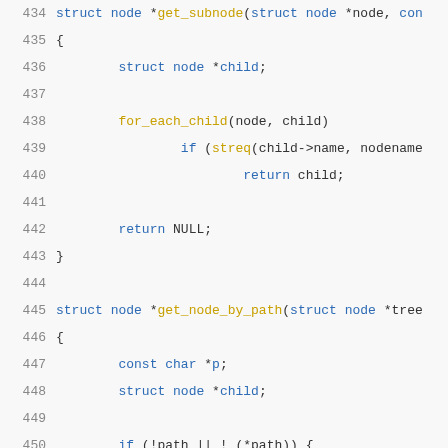[Figure (screenshot): Source code listing showing C functions get_subnode and get_node_by_path with line numbers 434-455]